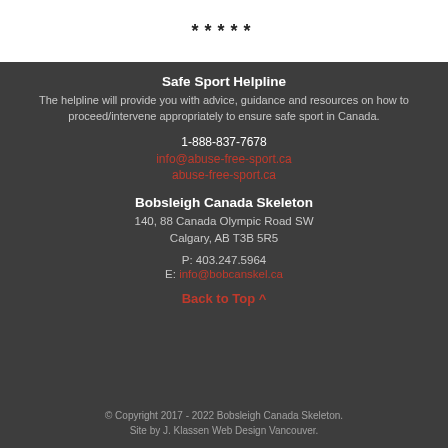*****
Safe Sport Helpline
The helpline will provide you with advice, guidance and resources on how to proceed/intervene appropriately to ensure safe sport in Canada.
1-888-837-7678
info@abuse-free-sport.ca
abuse-free-sport.ca
Bobsleigh Canada Skeleton
140, 88 Canada Olympic Road SW
Calgary, AB T3B 5R5
P: 403.247.5964
E: info@bobcanskel.ca
Back to Top ^
© Copyright 2017 - 2022 Bobsleigh Canada Skeleton. Site by J. Klassen Web Design Vancouver.